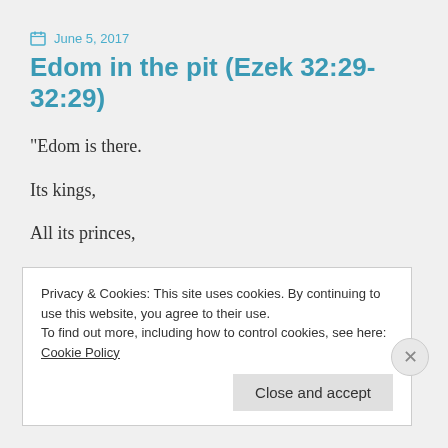June 5, 2017
Edom in the pit (Ezek 32:29-32:29)
“Edom is there.
Its kings,
All its princes,
Privacy & Cookies: This site uses cookies. By continuing to use this website, you agree to their use.
To find out more, including how to control cookies, see here: Cookie Policy
Close and accept